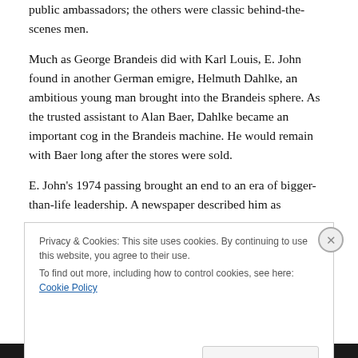public ambassadors; the others were classic behind-the-scenes men.
Much as George Brandeis did with Karl Louis, E. John found in another German emigre, Helmuth Dahlke, an ambitious young man brought into the Brandeis sphere. As the trusted assistant to Alan Baer, Dahlke became an important cog in the Brandeis machine. He would remain with Baer long after the stores were sold.
E. John's 1974 passing brought an end to an era of bigger-than-life leadership. A newspaper described him as
Privacy & Cookies: This site uses cookies. By continuing to use this website, you agree to their use.
To find out more, including how to control cookies, see here: Cookie Policy